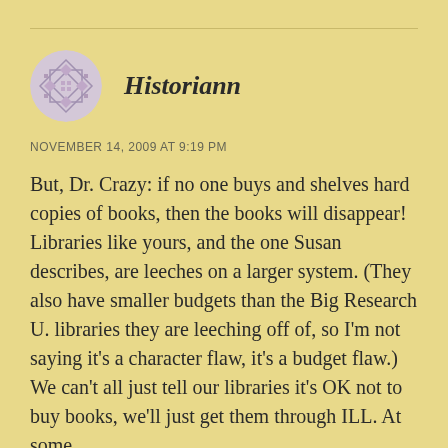Historiann
NOVEMBER 14, 2009 AT 9:19 PM
But, Dr. Crazy: if no one buys and shelves hard copies of books, then the books will disappear! Libraries like yours, and the one Susan describes, are leeches on a larger system. (They also have smaller budgets than the Big Research U. libraries they are leeching off of, so I'm not saying it's a character flaw, it's a budget flaw.) We can't all just tell our libraries it's OK not to buy books, we'll just get them through ILL. At some